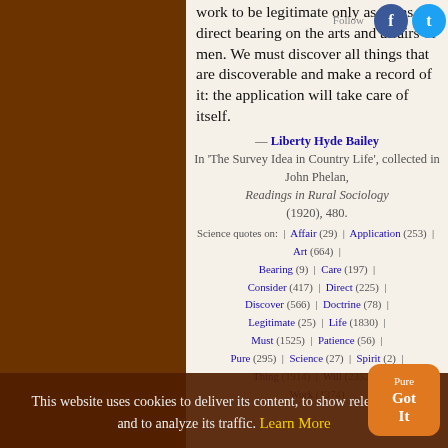work to be legitimate only as it has direct bearing on the arts and affairs of men. We must discover all things that are discoverable and make a record of it: the application will take care of itself.
— Liberty Hyde Bailey
In 'The Survey Idea in Country Life', collected in John Phelan, Readings in Rural Sociology (1920), 480.
Science quotes on: | Affair (29) | Application (253) | Art (664) | Bearing (9) | Care (197) | Consider (417) | Direct (225) | Discover (566) | Doctrine (78) | Legitimate (25) | Life (1830) | Must (1525) | Patience (56) | Pure (295) | Science (27) | Spirit (2?) | Thing (1914) | Will (2352) | Work (1374)
This website uses cookies to deliver its content, to show relevant ads and to analyze its traffic. Learn More
Pure
Got It